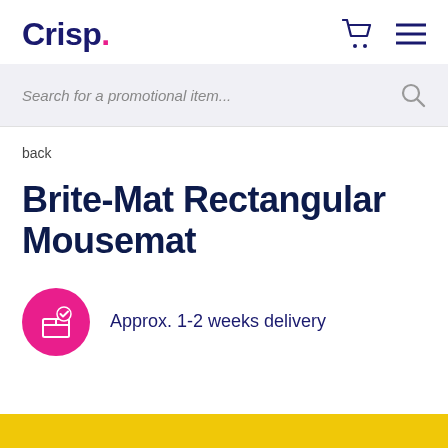Crisp.
Search for a promotional item...
back
Brite-Mat Rectangular Mousemat
Approx. 1-2 weeks delivery